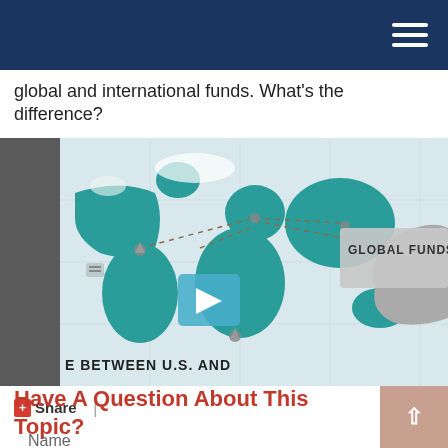global and international funds. What's the difference?
[Figure (screenshot): Video thumbnail showing a world map with teal/colored countries and gray countries, dashed connection lines between regions, text reading 'GLOBAL FUNDS' and 'E BETWEEN U.S. AND', with a play button overlay in the center.]
+ Share  |
Have A Question About This Topic?
Name